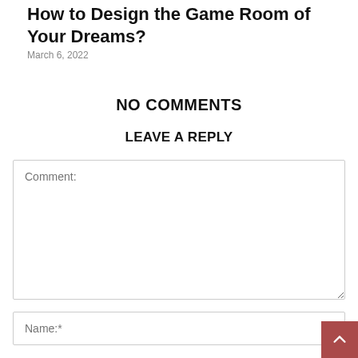How to Design the Game Room of Your Dreams?
March 6, 2022
NO COMMENTS
LEAVE A REPLY
Comment:
Name:*